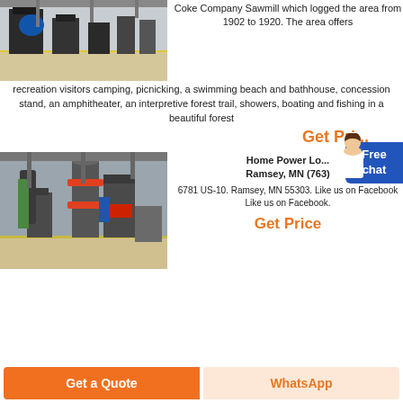[Figure (photo): Industrial machinery/equipment in a factory setting, top image]
Coke Company Sawmill which logged the area from 1902 to 1920. The area offers recreation visitors camping, picnicking, a swimming beach and bathhouse, concession stand, an amphitheater, an interpretive forest trail, showers, boating and fishing in a beautiful forest
Get Price
[Figure (photo): Industrial grinding/milling machines in a large factory]
Home Power Lo... Ramsey, MN (763) 6781 US-10. Ramsey, MN 55303. Like us on Facebook Like us on Facebook.
Get Price
Get a Quote
WhatsApp